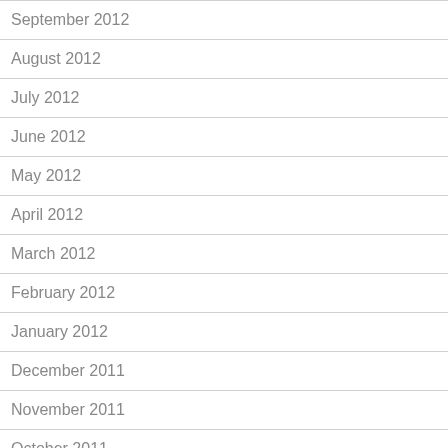September 2012
August 2012
July 2012
June 2012
May 2012
April 2012
March 2012
February 2012
January 2012
December 2011
November 2011
October 2011